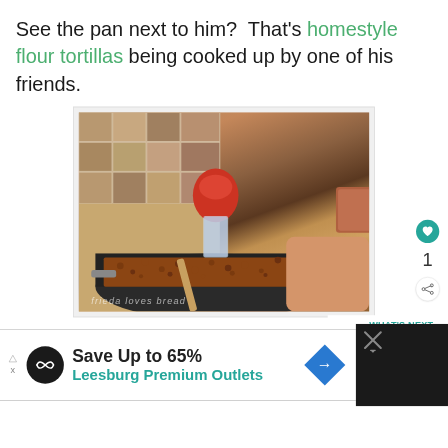See the pan next to him?  That's homestyle flour tortillas being cooked up by one of his friends.
[Figure (photo): A person cooking seasoned ground beef in a large dark skillet on a stovetop, adding seasoning from a packet. A second pan is visible to the right. Stone tile backsplash in background. Watermark reads 'frieda loves bread'.]
WHAT'S NEXT → Savory Taco Tortillas
Save Up to 65% Leesburg Premium Outlets